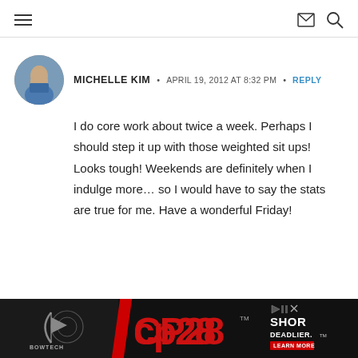Navigation menu, email icon, search icon
MICHELLE KIM • APRIL 19, 2012 AT 8:32 PM • REPLY
I do core work about twice a week. Perhaps I should step it up with those weighted sit ups! Looks tough! Weekends are definitely when I indulge more… so I would have to say the stats are true for me. Have a wonderful Friday!
[Figure (illustration): Advertisement banner for Bowtech CP28 bow - black background with red CP28 logo text and 'SHOR DEADLIER.' text on right with LEARN MORE button]